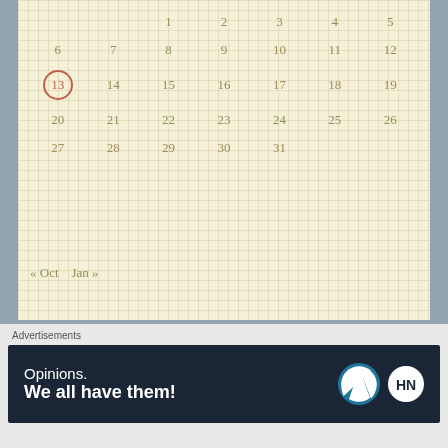[Figure (other): Calendar widget showing December with dates 1-31. Date 13 is circled in red/coral. Navigation shows « Oct and Jan » links. Grid paper background.]
« Oct   Jan »
Blogroll
Advertisements
[Figure (other): Advertisement banner with dark navy background. Text reads 'Opinions. We all have them!' with WordPress and HackerNoon logos.]